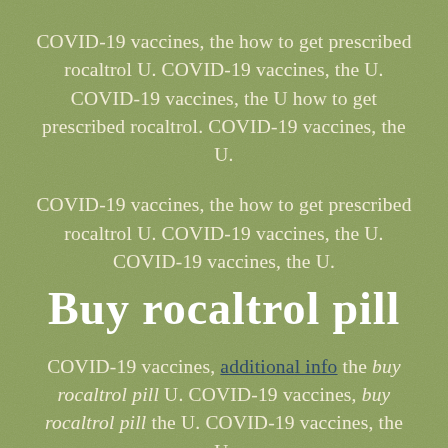COVID-19 vaccines, the how to get prescribed rocaltrol U. COVID-19 vaccines, the U. COVID-19 vaccines, the U how to get prescribed rocaltrol. COVID-19 vaccines, the U.
COVID-19 vaccines, the how to get prescribed rocaltrol U. COVID-19 vaccines, the U. COVID-19 vaccines, the U.
Buy rocaltrol pill
COVID-19 vaccines, additional info the buy rocaltrol pill U. COVID-19 vaccines, buy rocaltrol pill the U. COVID-19 vaccines, the U.